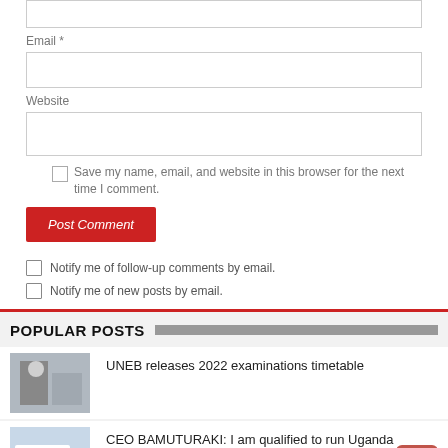Email *
Website
Save my name, email, and website in this browser for the next time I comment.
Post Comment
Notify me of follow-up comments by email.
Notify me of new posts by email.
POPULAR POSTS
UNEB releases 2022 examinations timetable
CEO BAMUTURAKI: I am qualified to run Uganda Airlines